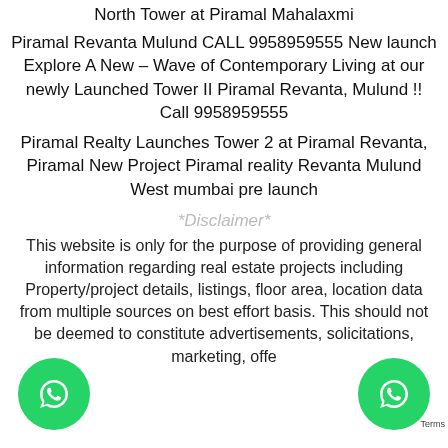North Tower at Piramal Mahalaxmi
Piramal Revanta Mulund CALL 9958959555 New launch Explore A New – Wave of Contemporary Living at our newly Launched Tower II Piramal Revanta, Mulund !! Call 9958959555
Piramal Realty Launches Tower 2 at Piramal Revanta, Piramal New Project Piramal reality Revanta Mulund West mumbai pre launch
*Disclaimer*
This website is only for the purpose of providing general information regarding real estate projects including Property/project details, listings, floor area, location data from multiple sources on best effort basis. This should not be deemed to constitute advertisements, solicitations, marketing, offers...